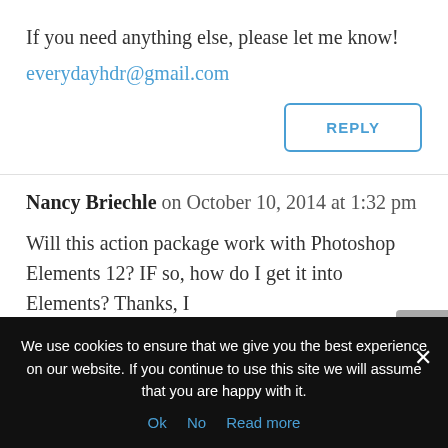If you need anything else, please let me know!
everydayhdr@gmail.com
REPLY
Nancy Briechle on October 10, 2014 at 1:32 pm
Will this action package work with Photoshop Elements 12? IF so, how do I get it into Elements? Thanks, I
We use cookies to ensure that we give you the best experience on our website. If you continue to use this site we will assume that you are happy with it.
Ok   No   Read more